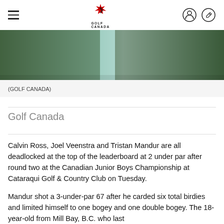Golf Canada (logo and navigation)
[Figure (photo): A photo strip showing a golf course scene, partially cropped at the top of the content area.]
(GOLF CANADA)
Golf Canada
Calvin Ross, Joel Veenstra and Tristan Mandur are all deadlocked at the top of the leaderboard at 2 under par after round two at the Canadian Junior Boys Championship at Cataraqui Golf & Country Club on Tuesday.
Mandur shot a 3-under-par 67 after he carded six total birdies and limited himself to one bogey and one double bogey. The 18-year-old from Mill Bay, B.C. who last...